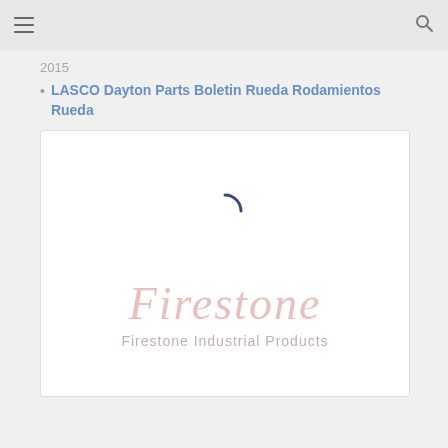2015
LASCO Dayton Parts Boletin Rueda Rodamientos Rueda
[Figure (logo): Firestone Industrial Products loading card with spinner and Firestone wordmark in light red/pink, with tagline 'Firestone Industrial Products' below]